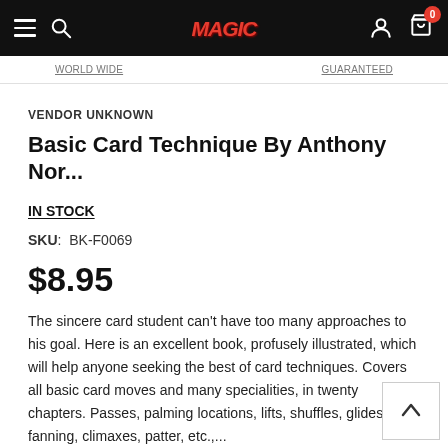Navigation bar with hamburger menu, search icon, MAGIC logo, user icon, cart (0)
WORLD WIDE   GUARANTEED
VENDOR UNKNOWN
Basic Card Technique By Anthony Nor...
IN STOCK
SKU: BK-F0069
$8.95
The sincere card student can't have too many approaches to his goal. Here is an excellent book, profusely illustrated, which will help anyone seeking the best of card techniques. Covers all basic card moves and many specialities, in twenty chapters. Passes, palming locations, lifts, shuffles, glides, fanning, climaxes, patter, etc.,...